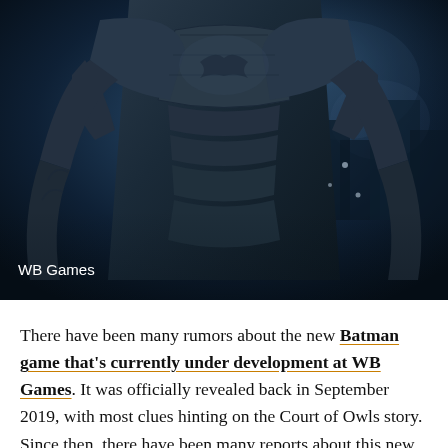[Figure (photo): Dark screenshot of Batman armored suit from a video game, showing the chest and upper torso of the Batman suit in dark blue/grey tones with a moody background. 'WB Games' text label appears in the lower left of the image.]
There have been many rumors about the new Batman game that's currently under development at WB Games. It was officially revealed back in September 2019, with most clues hinting on the Court of Owls story. Since then, there have been many reports about this new game; some suggesting to be a reboot of the franchise, others a new game altogether. Well, this time, we have a new leak that suggests that this game will feature co-op gameplay.